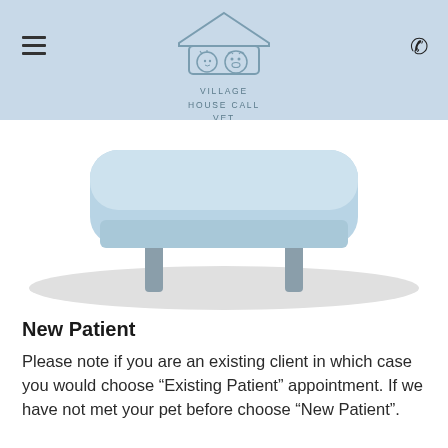Village House Call Vet
[Figure (illustration): Illustration of a veterinary examination table with light blue table top and grey metal legs, set on a grey oval shadow/rug on a white background.]
New Patient
Please note if you are an existing client in which case you would choose “Existing Patient” appointment. If we have not met your pet before choose “New Patient”.